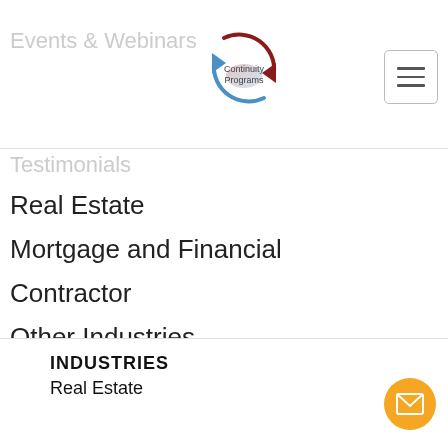Events & Webinars
[Figure (logo): Continuity Programs logo with circular arrows (dark red and blue) and text 'Continuity Programs']
[Figure (other): Hamburger menu button (three horizontal lines in a rounded rectangle)]
Testimonials
Real Estate
Mortgage and Financial
Contractor
Other Industries
Submit A Testimonial
INDUSTRIES
Real Estate